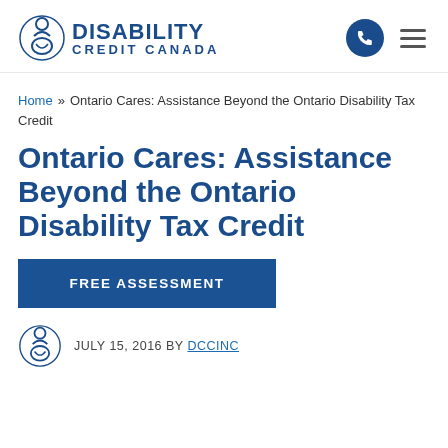[Figure (logo): Disability Credit Canada logo with phone and hamburger menu icons in header]
Home » Ontario Cares: Assistance Beyond the Ontario Disability Tax Credit
Ontario Cares: Assistance Beyond the Ontario Disability Tax Credit
FREE ASSESSMENT
JULY 15, 2016 BY DCCINC